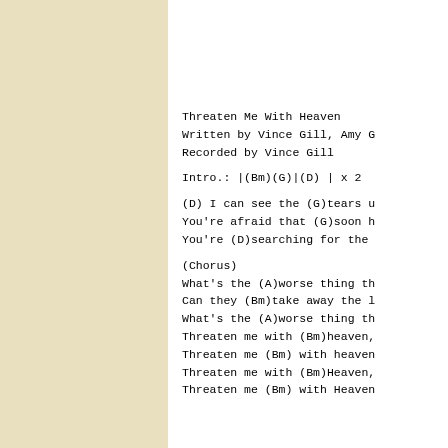Threaten Me With Heaven
Written by Vince Gill, Amy G
Recorded by Vince Gill
Intro.:  |(Bm)(G)|(D) | x 2
(D) I can see the (G)tears u
You're afraid that (G)soon h
You're (D)searching for the
(Chorus)
What's the (A)worse thing th
Can they (Bm)take away the l
What's the (A)worse thing th
Threaten me with (Bm)heaven,
Threaten me (Bm) with heaven
Threaten me with (Bm)Heaven,
Threaten me (Bm) with Heaven